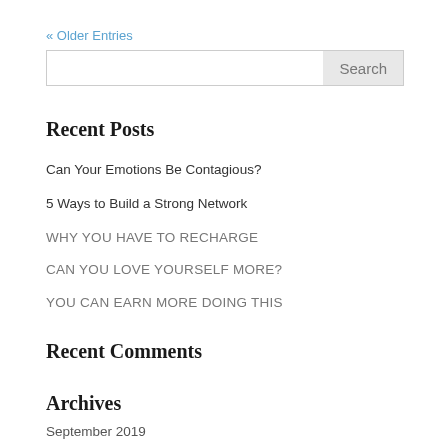« Older Entries
Search
Recent Posts
Can Your Emotions Be Contagious?
5 Ways to Build a Strong Network
WHY YOU HAVE TO RECHARGE
CAN YOU LOVE YOURSELF MORE?
YOU CAN EARN MORE DOING THIS
Recent Comments
Archives
September 2019